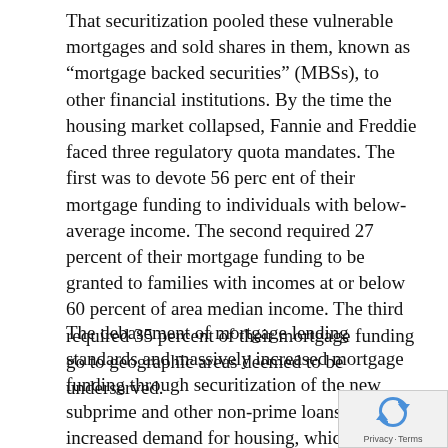That securitization pooled these vulnerable mortgages and sold shares in them, known as “mortgage backed securities” (MBSs), to other financial institutions. By the time the housing market collapsed, Fannie and Freddie faced three regulatory quota mandates. The first was to devote 56 percent of their mortgage funding to individuals with below-average income. The second required 27 percent of their mortgage funding to be granted to families with incomes at or below 60 percent of area median income. The third required 35 percent of their mortgage funding go to geographic areas deemed to be underserved.
The debasement of mortgage lending standards and massively increased mortgage funding through securitization of the new subprime and other non-prime loans greatly increased demand for housing, which spawned the rise of the housing bubble.